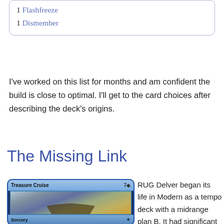1 Flashfreeze
1 Dismember
I've worked on this list for months and am confident the build is close to optimal. I'll get to the card choices after describing the deck's origins.
The Missing Link
[Figure (illustration): Magic: The Gathering card 'Treasure Cruise' showing a fantasy ship laden with treasure on a misty sea. Card type shown as Sorcery.]
RUG Delver began its life in Modern as a tempo deck with a midrange plan B. It had significant success in 2012, its initial pro stint epitomized by Antonio De Rosa's 1st